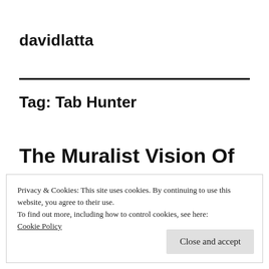davidlatta
Tag: Tab Hunter
The Muralist Vision Of
Privacy & Cookies: This site uses cookies. By continuing to use this website, you agree to their use.
To find out more, including how to control cookies, see here:
Cookie Policy
Close and accept